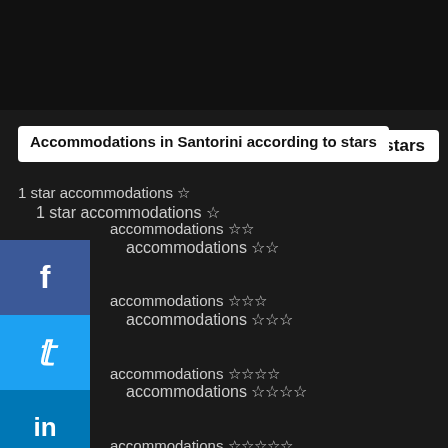Accommodations in Santorini according to stars
1 star accommodations ☆
accommodations ☆☆
accommodations ☆☆☆
accommodations ☆☆☆☆
accommodations ☆☆☆☆☆
Accommodations in Santorini by price and night
Accommodation for less than 50 € per night
Accommodation between 50 € and 100 € per night
Accommodation between 100 € and 150 € per night
Accommodation between 150 € and 200 € per night